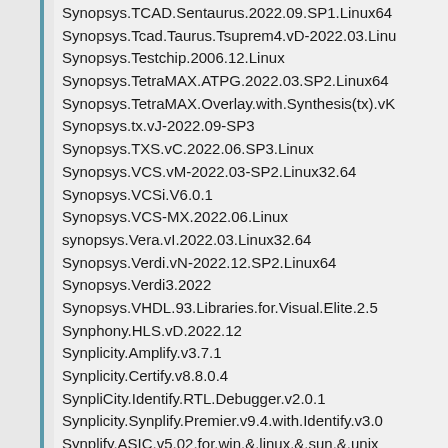Synopsys.TCAD.Sentaurus.2022.09.SP1.Linux64
Synopsys.Tcad.Taurus.Tsuprem4.vD-2022.03.Linux
Synopsys.Testchip.2006.12.Linux
Synopsys.TetraMAX.ATPG.2022.03.SP2.Linux64
Synopsys.TetraMAX.Overlay.with.Synthesis(tx).vK
Synopsys.tx.vJ-2022.09-SP3
Synopsys.TXS.vC.2022.06.SP3.Linux
Synopsys.VCS.vM-2022.03-SP2.Linux32.64
Synopsys.VCSi.V6.0.1
Synopsys.VCS-MX.2022.06.Linux
synopsys.Vera.vI.2022.03.Linux32.64
Synopsys.Verdi.vN-2022.12.SP2.Linux64
Synopsys.Verdi3.2022
Synopsys.VHDL.93.Libraries.for.Visual.Elite.2.5
Synphony.HLS.vD.2022.12
Synplicity.Amplify.v3.7.1
Synplicity.Certify.v8.8.0.4
SynpliCity.Identify.RTL.Debugger.v2.0.1
Synplicity.Synplify.Premier.v9.4.with.Identify.v3.0
Synplify.ASIC.v5.02.for.win.&.linux.&.sun.&.unix
Synplify.DSP.v3.6
Synplify.for.Lattice.v8.2
Synplify.FPGA.2022
Synplify.Premier.v9.6.2.with.Identify.v3.02
Synplify.v8.5.with.Identify.v2.3.2.Linux